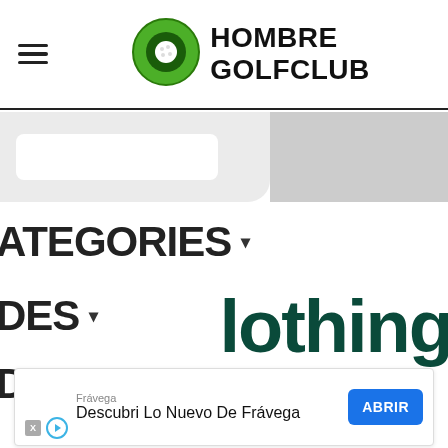HOMBRE GOLFCLUB
[Figure (logo): Hombre Golfclub logo with green circle and golf ball icon]
ATEGORIES ▾
DES ▾
DUCTS ▾
lothing
Frávega
Descubri Lo Nuevo De Frávega
ABRIR